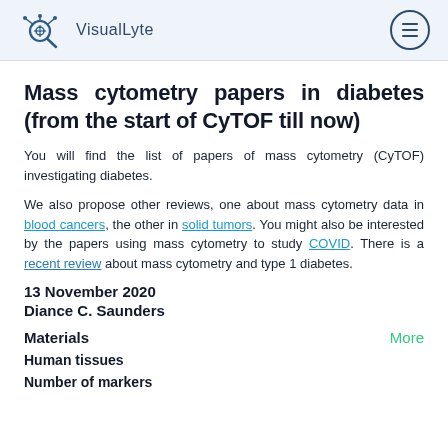VisualLyte [logo + hamburger menu]
Mass cytometry papers in diabetes (from the start of CyTOF till now)
You will find the list of papers of mass cytometry (CyTOF) investigating diabetes.
We also propose other reviews, one about mass cytometry data in blood cancers, the other in solid tumors. You might also be interested by the papers using mass cytometry to study COVID. There is a recent review about mass cytometry and type 1 diabetes.
13 November 2020
Diance C. Saunders
Materials
More
Human tissues
Number of markers